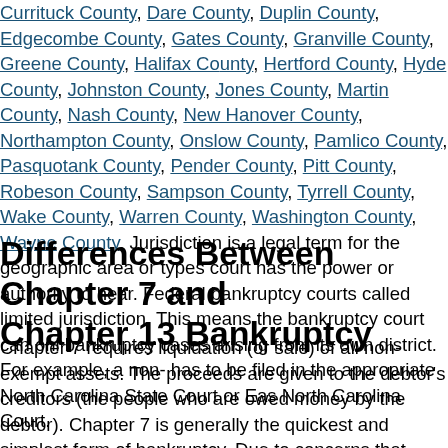Currituck County, Dare County, Duplin County, Edgecombe County, Gates County, Granville County, Greene County, Halifax County, Hertford County, Hyde County, Johnston County, Jones County, Martin County, Nash County, New Hanover County, Northampton County, Onslow County, Pamlico County, Pasquotank County, Pender County, Pitt County, Robeson County, Sampson County, Tyrrell County, Wake County, Warren County, Washington County, Wayne County. Jurisdiction is a legal term for the geographic area or types of cases a court has the power or authority to hear. Federal bankruptcy courts have what is called limited jurisdiction. This means the bankruptcy court can only hear bankruptcy cases arising from its own district. For example, a non-bankruptcy case has to be filed in the appropriate North Carolina State Court or Eastern District of North Carolina Court.
Differences Between Chapter 7 and Chapter 13 Bankruptcy
Chapter 7 requires liquidation (or sale) of all non-exempt assets. The proceeds are given to the debtor's creditors (the people who are owed money by the debtor). Chapter 7 is generally the quickest and simplest form of bankruptcy. Due to concerns that Chapter 7 was being abused by some debtors, a 2